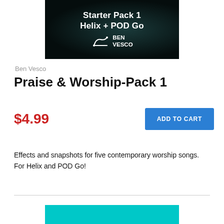[Figure (illustration): Product banner image with dark background showing text 'Starter Pack 1 Helix + POD Go' with a guitar logo and 'BEN VESCO' branding]
Ben Vesco
Praise & Worship-Pack 1
$4.99
ADD TO CART
Effects and snapshots for five contemporary worship songs. For Helix and POD Go!
[Figure (photo): Partial view of next product image with teal/cyan background]